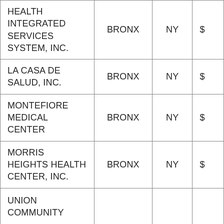| HEALTH INTEGRATED SERVICES SYSTEM, INC. | BRONX | NY | $ |
| LA CASA DE SALUD, INC. | BRONX | NY | $ |
| MONTEFIORE MEDICAL CENTER | BRONX | NY | $ |
| MORRIS HEIGHTS HEALTH CENTER, INC. | BRONX | NY | $ |
| UNION COMMUNITY... | BRONX | NY | $ |